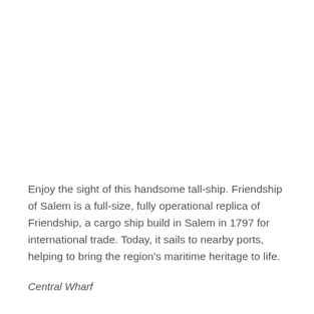Enjoy the sight of this handsome tall-ship. Friendship of Salem is a full-size, fully operational replica of Friendship, a cargo ship build in Salem in 1797 for international trade. Today, it sails to nearby ports, helping to bring the region's maritime heritage to life.
Central Wharf